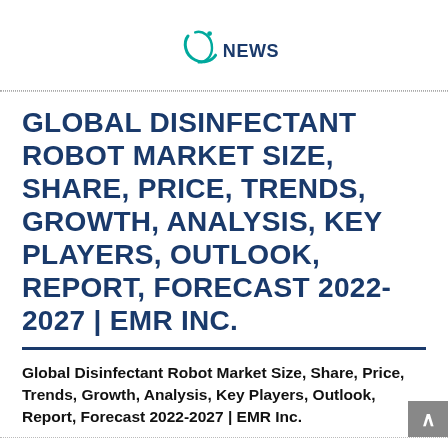[Figure (logo): Enews logo with teal circular swoosh symbol and 'NEWS' text in dark blue]
GLOBAL DISINFECTANT ROBOT MARKET SIZE, SHARE, PRICE, TRENDS, GROWTH, ANALYSIS, KEY PLAYERS, OUTLOOK, REPORT, FORECAST 2022-2027 | EMR INC.
Global Disinfectant Robot Market Size, Share, Price, Trends, Growth, Analysis, Key Players, Outlook, Report, Forecast 2022-2027 | EMR Inc.